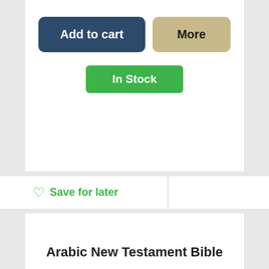[Figure (screenshot): Add to cart and More buttons for a product]
[Figure (screenshot): In Stock badge button]
Save for later
Arabic New Testament Bible
★★★★★ (5/5) on 1 rating(s)
$5.40
[Figure (screenshot): Add to cart and More buttons for Arabic New Testament Bible]
[Figure (screenshot): In Stock badge button]